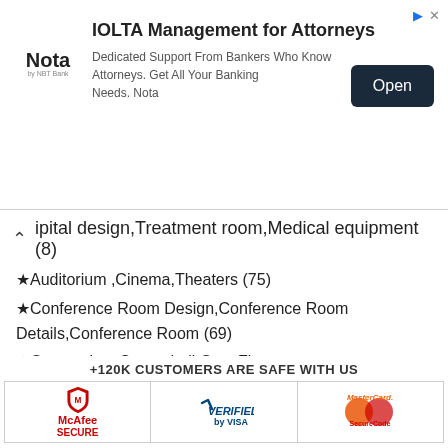[Figure (infographic): IOLTA Management for Attorneys advertisement banner with Nota logo and Open button]
ipital design, Treatment room, Medical equipment (8)
★Auditorium ,Cinema,Theaters (75)
★Conference Room Design,Conference Room Details,Conference Room (69)
★Gymnasium,Sports hall,Gym,Fitness equipment,Weightlifting,Dumbbells,Yoga (44)
★Neoclassical interior, Home decor (88)
★Pub,Bar,Restaurant (55)
Sketchup models (7)
Chinese Architecture🔥💎 (34)
Chinese decoration (36)
+120K CUSTOMERS ARE SAFE WITH US
[Figure (infographic): Trust badges: McAfee Secure, Verified by Visa, MasterCard SecureCode]